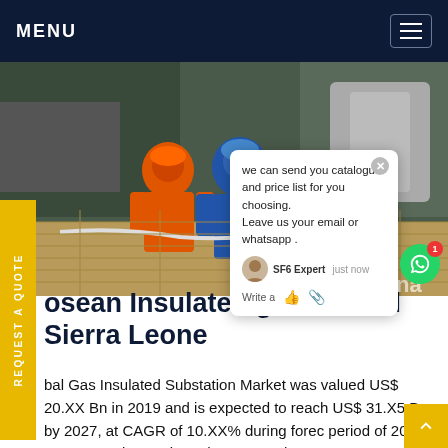MENU
[Figure (photo): Two workers in orange and blue protective suits working on industrial equipment on a wooden platform]
we can send you catalogue and price list for you choosing. Leave us your email or whatsapp . SF6 Expert  just now  Write a
osean Insulated gas control Sierra Leone
bal Gas Insulated Substation Market was valued US$ 20.XX Bn in 2019 and is expected to reach US$ 31.X5 Bn by 2027, at CAGR of 10.XX% during forec period of 2020 to 2027. To know about the Research